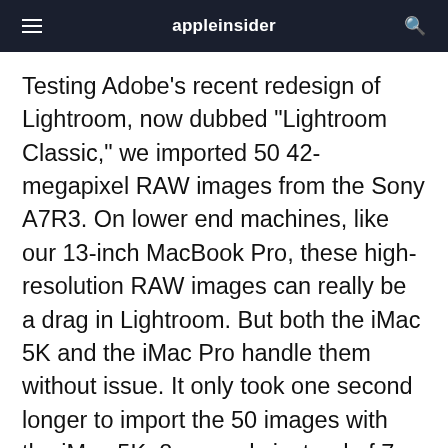appleinsider
Testing Adobe's recent redesign of Lightroom, now dubbed "Lightroom Classic," we imported 50 42-megapixel RAW images from the Sony A7R3. On lower end machines, like our 13-inch MacBook Pro, these high-resolution RAW images can really be a drag in Lightroom. But both the iMac 5K and the iMac Pro handle them without issue. It only took one second longer to import the 50 images with the iMac 5K, 8 seconds instead of 7 — both numbers you wouldn't complain about.
Next, we exported the 50 images to JPEG at a